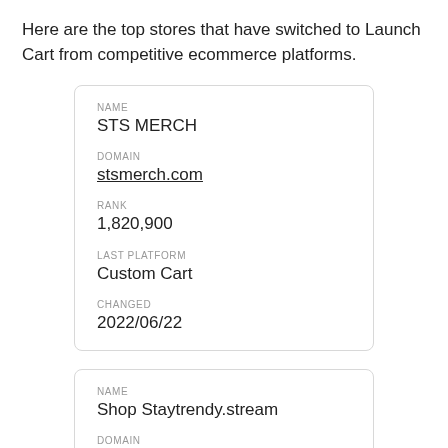Here are the top stores that have switched to Launch Cart from competitive ecommerce platforms.
| Field | Value |
| --- | --- |
| NAME | STS MERCH |
| DOMAIN | stsmerch.com |
| RANK | 1,820,900 |
| LAST PLATFORM | Custom Cart |
| CHANGED | 2022/06/22 |
| Field | Value |
| --- | --- |
| NAME | Shop Staytrendy.stream |
| DOMAIN |  |